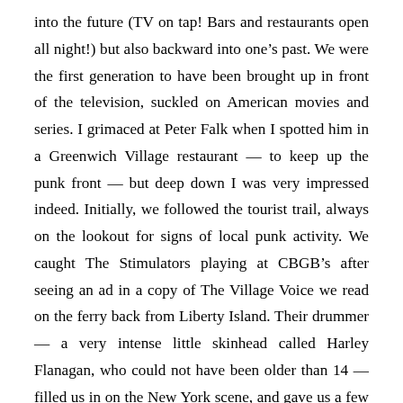into the future (TV on tap! Bars and restaurants open all night!) but also backward into one's past. We were the first generation to have been brought up in front of the television, suckled on American movies and series. I grimaced at Peter Falk when I spotted him in a Greenwich Village restaurant — to keep up the punk front — but deep down I was very impressed indeed. Initially, we followed the tourist trail, always on the lookout for signs of local punk activity. We caught The Stimulators playing at CBGB's after seeing an ad in a copy of The Village Voice we read on the ferry back from Liberty Island. Their drummer — a very intense little skinhead called Harley Flanagan, who could not have been older than 14 — filled us in on the New York scene, and gave us a few tips as to where to go, over a game of pinball. If Benjamin and Elaine in The Graduate had produced a son straight away, I reckon he